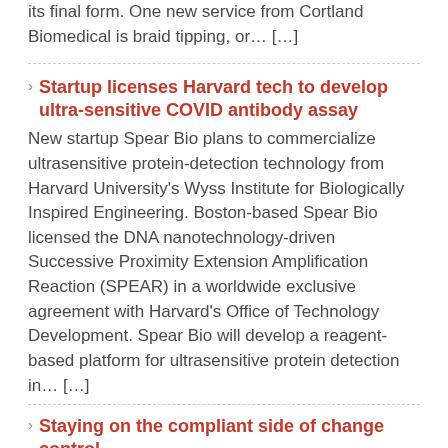its final form. One new service from Cortland Biomedical is braid tipping, or… […]
Startup licenses Harvard tech to develop ultra-sensitive COVID antibody assay
New startup Spear Bio plans to commercialize ultrasensitive protein-detection technology from Harvard University's Wyss Institute for Biologically Inspired Engineering. Boston-based Spear Bio licensed the DNA nanotechnology-driven Successive Proximity Extension Amplification Reaction (SPEAR) in a worldwide exclusive agreement with Harvard's Office of Technology Development. Spear Bio will develop a reagent-based platform for ultrasensitive protein detection in… […]
Staying on the compliant side of change control